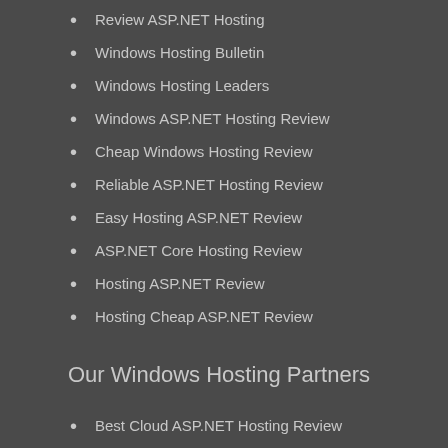Review ASP.NET Hosting
Windows Hosting Bulletin
Windows Hosting Leaders
Windows ASP.NET Hosting Review
Cheap Windows Hosting Review
Reliable ASP.NET Hosting Review
Easy Hosting ASP.NET Review
ASP.NET Core Hosting Review
Hosting ASP.NET Review
Hosting Cheap ASP.NET Review
Our Windows Hosting Partners
Best Cloud ASP.NET Hosting Review
Full Trust ASP.NET Hosting Review
European ASP.NET Hosting Review
ASP.NET Hosting Review
Cheap Windows Hosting Review
Top Review Hosting ASP.NET
Cheap Windows Hosting ASP.NET
India ASP.NET Hosting Review
Charcoal Export
UK ASP.NET Hosting Review